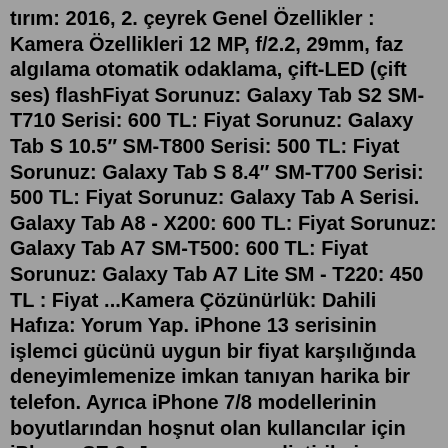tırım: 2016, 2. çeyrek Genel Özellikler : Kamera Özellikleri 12 MP, f/2.2, 29mm, faz algılama otomatik odaklama, çift-LED (çift ses) flashFiyat Sorunuz: Galaxy Tab S2 SM-T710 Serisi: 600 TL: Fiyat Sorunuz: Galaxy Tab S 10.5″ SM-T800 Serisi: 500 TL: Fiyat Sorunuz: Galaxy Tab S 8.4″ SM-T700 Serisi: 500 TL: Fiyat Sorunuz: Galaxy Tab A Serisi. Galaxy Tab A8 - X200: 600 TL: Fiyat Sorunuz: Galaxy Tab A7 SM-T500: 600 TL: Fiyat Sorunuz: Galaxy Tab A7 Lite SM - T220: 450 TL : Fiyat ...Kamera Çözünürlük: Dahili Hafıza: Yorum Yap. iPhone 13 serisinin işlemci gücünü uygun bir fiyat karşılığında deneyimlemenize imkan tanıyan harika bir telefon. Ayrıca iPhone 7/8 modellerinin boyutlarından hoşnut olan kullancılar için iPhone SE 3. Jenerasyon, geliştirilmiş ses, kamera ve batarya ömrü gibi pek çok ... Osmangazi içinde, ikinci el satılık İphone X ÇABUK FİYAT DÜŞ. Ana Sayfa Osmangazi ve çevresinde Elektronik. 5.500 TL. Şikayet et.Iphone Se modelleri, iphone se markaları, seçenekleri, özellikleri ve en uygun fiyatları